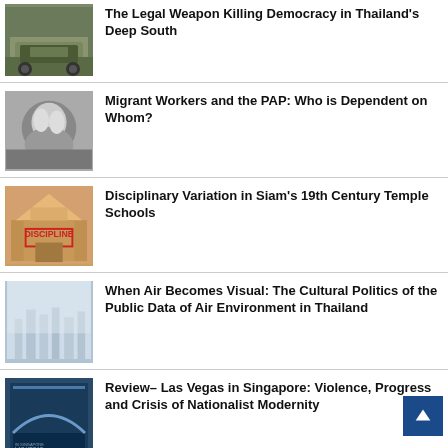[Figure (photo): Military vehicle (humvee) on a street]
The Legal Weapon Killing Democracy in Thailand's Deep South
[Figure (photo): Black and white photo of workers or people]
Migrant Workers and the PAP: Who is Dependent on Whom?
[Figure (photo): Building with DISCIPLINE sign]
Disciplinary Variation in Siam's 19th Century Temple Schools
[Figure (photo): Hazy cityscape - air pollution visual]
When Air Becomes Visual: The Cultural Politics of the Public Data of Air Environment in Thailand
[Figure (photo): Book cover - Las Vegas in Singapore]
Review– Las Vegas in Singapore: Violence, Progress and Crisis of Nationalist Modernity